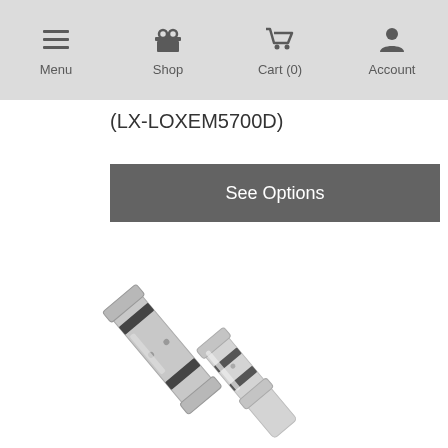Menu  Shop  Cart (0)  Account
(LX-LOXEM5700D)
See Options
[Figure (photo): Two silver magnetic door lock components arranged diagonally — a long rectangular electromagnet body and an armature plate, shown from an angle against a white background.]